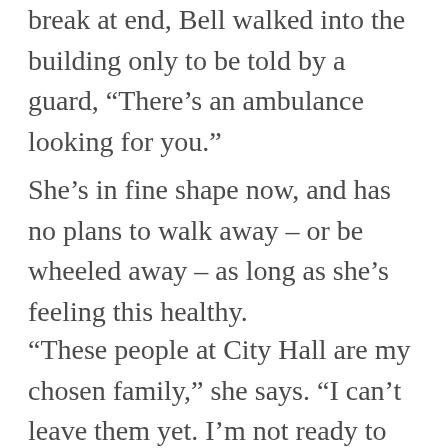break at end, Bell walked into the building only to be told by a guard, “There’s an ambulance looking for you.”
She’s in fine shape now, and has no plans to walk away – or be wheeled away – as long as she’s feeling this healthy.
“These people at City Hall are my chosen family,” she says. “I can’t leave them yet. I’m not ready to do that. I have